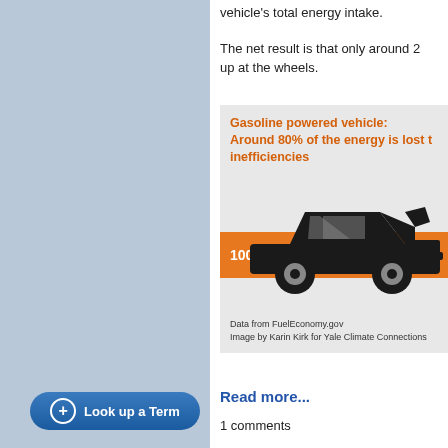vehicle's total energy intake.
The net result is that only around 2 up at the wheels.
[Figure (infographic): Infographic showing a gasoline powered vehicle with an orange bar labeled '100% of original fuel'. Title states 'Gasoline powered vehicle: Around 80% of the energy is lost to inefficiencies'. Data from FuelEconomy.gov. Image by Karin Kirk for Yale Climate Connections.]
Read more...
1 comments